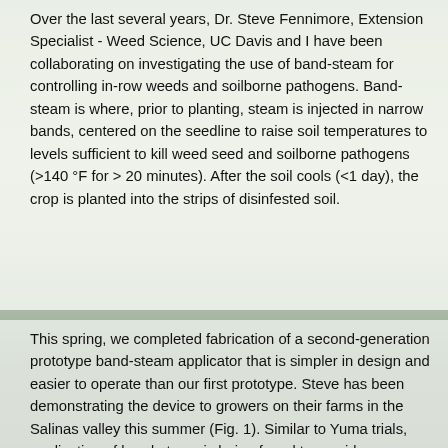Over the last several years, Dr. Steve Fennimore, Extension Specialist - Weed Science, UC Davis and I have been collaborating on investigating the use of band-steam for controlling in-row weeds and soilborne pathogens. Band-steam is where, prior to planting, steam is injected in narrow bands, centered on the seedline to raise soil temperatures to levels sufficient to kill weed seed and soilborne pathogens (>140 °F for > 20 minutes). After the soil cools (<1 day), the crop is planted into the strips of disinfested soil.
This spring, we completed fabrication of a second-generation prototype band-steam applicator that is simpler in design and easier to operate than our first prototype. Steve has been demonstrating the device to growers on their farms in the Salinas valley this summer (Fig. 1). Similar to Yuma trials, application of band-steam is being found to provide very good weed control in the treated band (Fig. 2). Stay tuned for reports of full trial